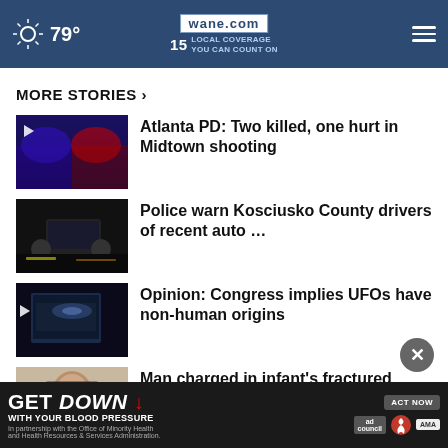wane.com | 15 Local Coverage You Can Count On | 79°
MORE STORIES ›
[Figure (photo): Police car with flashing blue and red lights at night]
Atlanta PD: Two killed, one hurt in Midtown shooting
[Figure (photo): Police car dashboard/car at night]
Police warn Kosciusko County drivers of recent auto …
[Figure (photo): Screen/monitor with light, UFO-related]
Opinion: Congress implies UFOs have non-human origins
[Figure (photo): Man with glasses and dark hair, headshot]
Man charged in infant's fractured skull
[Figure (photo): Person in suit]
GET DOWN ↓ WITH YOUR BLOOD PRESSURE | ACT NOW | In partnership with the Office of Minority Health and Health Resources & Services Administration.